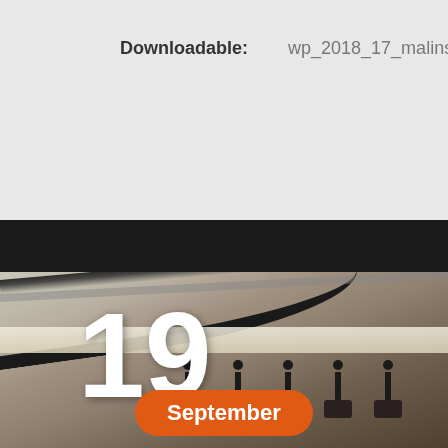Downloadable:    wp_2018_17_malinska
[Figure (photo): Industrial machinery photo showing curved rail/arm element at top and rows of vertical studs/bolts mounted on dark bases below, with beige/tan background. A large white '19' number is overlaid on the left side, and an orange pill-shaped badge reading 'September' appears at bottom left.]
19
September